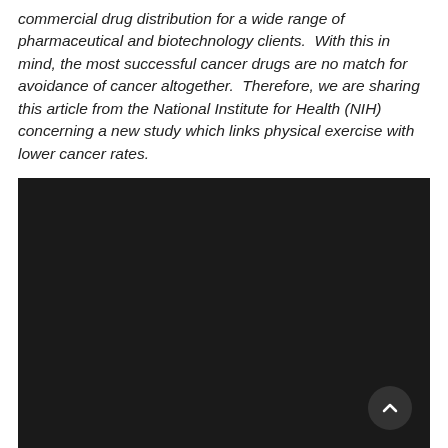commercial drug distribution for a wide range of pharmaceutical and biotechnology clients.  With this in mind, the most successful cancer drugs are no match for avoidance of cancer altogether.  Therefore, we are sharing this article from the National Institute for Health (NIH) concerning a new study which links physical exercise with lower cancer rates.
[Figure (photo): A large dark/black rectangular image area, likely a video embed or dark-background image placeholder.]